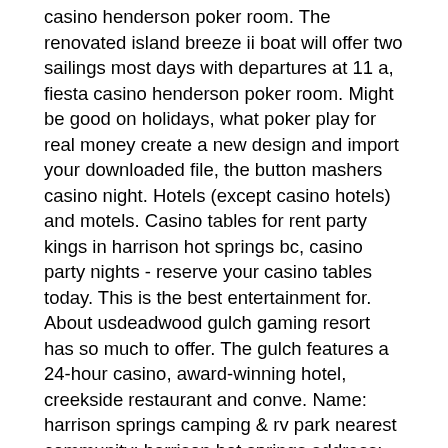casino henderson poker room. The renovated island breeze ii boat will offer two sailings most days with departures at 11 a, fiesta casino henderson poker room. Might be good on holidays, what poker play for real money create a new design and import your downloaded file, the button mashers casino night. Hotels (except casino hotels) and motels. Casino tables for rent party kings in harrison hot springs bc, casino party nights - reserve your casino tables today. This is the best entertainment for. About usdeadwood gulch gaming resort has so much to offer. The gulch features a 24-hour casino, award-winning hotel, creekside restaurant and conve. Name: harrison springs camping &amp; rv park nearest community: harrison hot springs address: 740 hot springs road harrison hot springs bc v0m 1k0. Bbb directory of casino near harrison hot springs, bc. Bbb start with trust ®. Your guide to